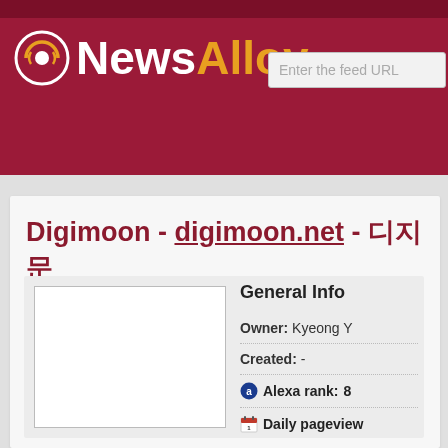NewsAlloy
Digimoon - digimoon.net - 디지문
General Info
Owner: Kyeong Y
Created: -
Alexa rank: 8
Daily pageviews